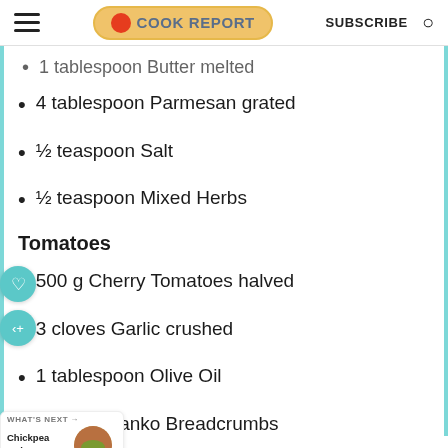The Cook Report — SUBSCRIBE
1 tablespoon Butter melted
4 tablespoon Parmesan grated
½ teaspoon Salt
½ teaspoon Mixed Herbs
Tomatoes
500 g Cherry Tomatoes halved
3 cloves Garlic crushed
1 tablespoon Olive Oil
Handful Panko Breadcrumbs
WHAT'S NEXT → Chickpea Quinoa Veg…